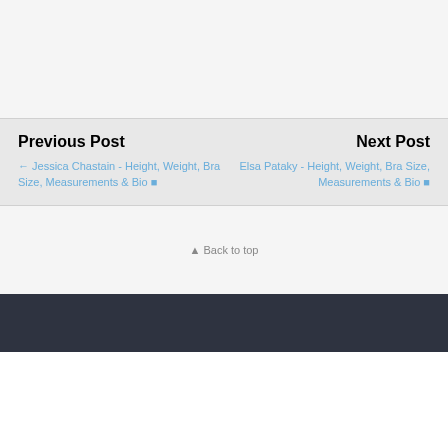Previous Post
Next Post
← Jessica Chastain - Height, Weight, Bra Size, Measurements & Bio
Elsa Pataky - Height, Weight, Bra Size, Measurements & Bio →
↑ Back to top